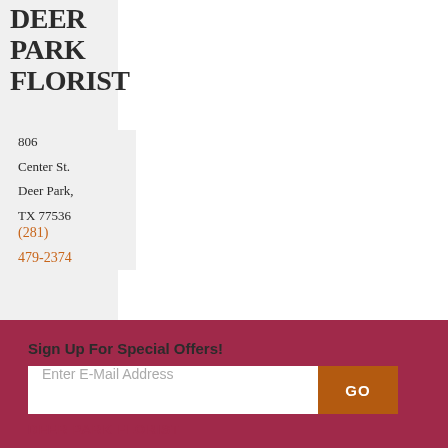DEER PARK FLORIST
806
Center St.
Deer Park,
TX 77536
(281)
479-2374
Sign Up For Special Offers!
Enter E-Mail Address
GO
DEER PARK FLORIST